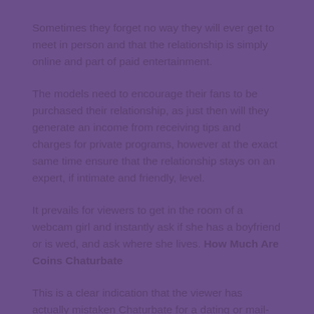Sometimes they forget no way they will ever get to meet in person and that the relationship is simply online and part of paid entertainment.
The models need to encourage their fans to be purchased their relationship, as just then will they generate an income from receiving tips and charges for private programs, however at the exact same time ensure that the relationship stays on an expert, if intimate and friendly, level.
It prevails for viewers to get in the room of a webcam girl and instantly ask if she has a boyfriend or is wed, and ask where she lives. How Much Are Coins Chaturbate
This is a clear indication that the viewer has actually mistaken Chaturbate for a dating or mail-order-bride website, and while it might be true that real-life relationships often start online, this is not